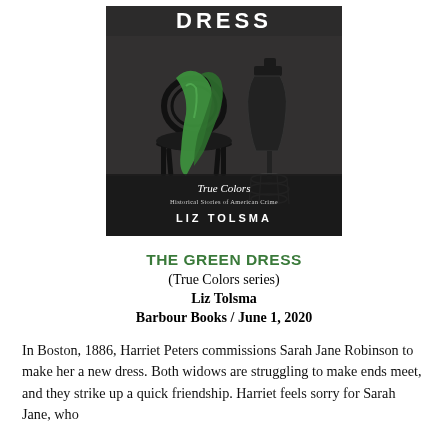[Figure (photo): Book cover of 'The Green Dress' by Liz Tolsma. Black and white photo of a dress mannequin and a chair with a green fabric draped over it. Text reads 'True Colors / Historical Stories of American Crime / LIZ TOLSMA'. The word 'DRESS' is visible at the top in white letters.]
THE GREEN DRESS
(True Colors series)
Liz Tolsma
Barbour Books / June 1, 2020
In Boston, 1886, Harriet Peters commissions Sarah Jane Robinson to make her a new dress. Both widows are struggling to make ends meet, and they strike up a quick friendship. Harriet feels sorry for Sarah Jane, who